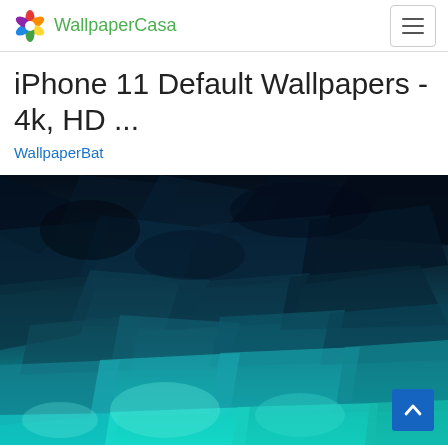WallpaperCasa
iPhone 11 Default Wallpapers - 4k, HD ...
WallpaperBat
[Figure (photo): Abstract low-poly dark teal and turquoise wallpaper with geometric polygon shapes, gradients from dark navy/black at top to bright cyan/turquoise at bottom — iPhone 11 default wallpaper]